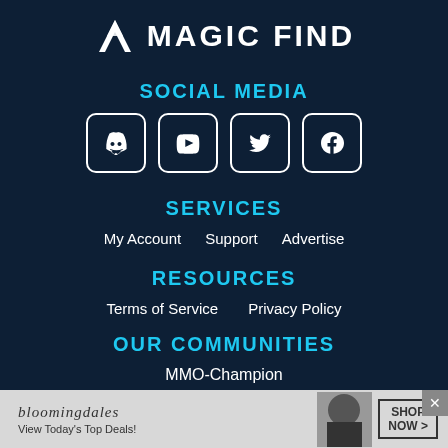[Figure (logo): Magic Find logo with white angular icon and white uppercase text MAGIC FIND]
SOCIAL MEDIA
[Figure (infographic): Four social media icons: Discord, YouTube, Twitter, Facebook — white icons in square rounded boxes]
SERVICES
My Account   Support   Advertise
RESOURCES
Terms of Service   Privacy Policy
OUR COMMUNITIES
MMO-Champion
BlueTracker
HearthPwn
[Figure (infographic): Bloomingdale's advertisement banner: View Today's Top Deals! SHOP NOW >]